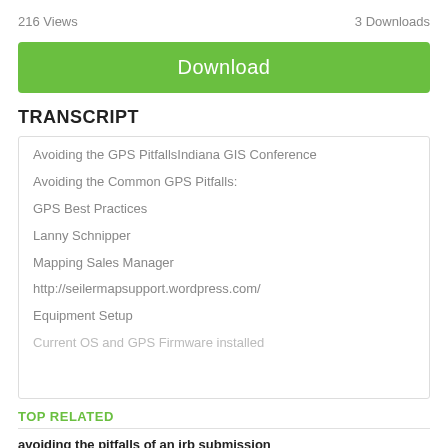216 Views
3 Downloads
Download
TRANSCRIPT
Avoiding the GPS PitfallsIndiana GIS Conference
Avoiding the Common GPS Pitfalls:
GPS Best Practices
Lanny Schnipper
Mapping Sales Manager
http://seilermapsupport.wordpress.com/
Equipment Setup
Current OS and GPS Firmware installed
TOP RELATED
avoiding the pitfalls of an irb submission
Documents